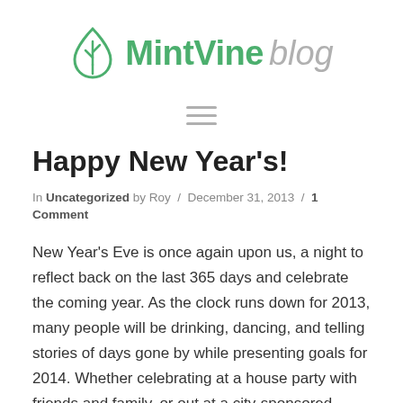[Figure (logo): MintVine blog logo with green leaf/droplet icon, 'MintVine' in green bold text and 'blog' in gray italic text]
[Figure (other): Hamburger menu icon — three horizontal gray lines]
Happy New Year's!
In Uncategorized by Roy / December 31, 2013 / 1 Comment
New Year's Eve is once again upon us, a night to reflect back on the last 365 days and celebrate the coming year. As the clock runs down for 2013, many people will be drinking, dancing, and telling stories of days gone by while presenting goals for 2014. Whether celebrating at a house party with friends and family, or out at a city-sponsored event, things tend to get a little wild tonight, it's best to take some precautions while…